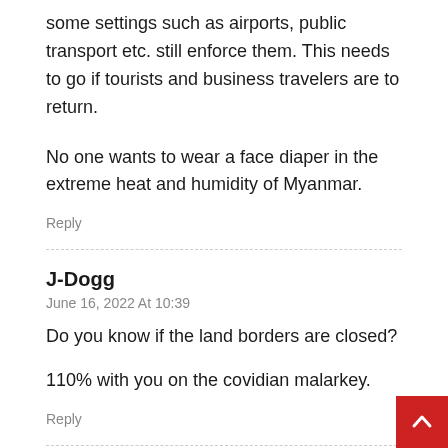some settings such as airports, public transport etc. still enforce them. This needs to go if tourists and business travelers are to return.
No one wants to wear a face diaper in the extreme heat and humidity of Myanmar.
Reply
J-Dogg
June 16, 2022 At 10:39
Do you know if the land borders are closed?
110% with you on the covidian malarkey.
Reply
Florian
June 29, 2022 At 20:57
Yes, for non-locals (i.e. Myanmar/Thai border area).